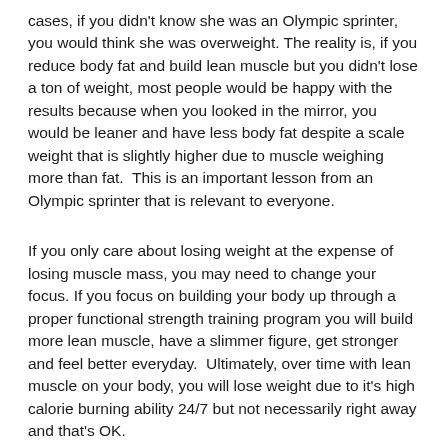cases, if you didn't know she was an Olympic sprinter, you would think she was overweight. The reality is, if you reduce body fat and build lean muscle but you didn't lose a ton of weight, most people would be happy with the results because when you looked in the mirror, you would be leaner and have less body fat despite a scale weight that is slightly higher due to muscle weighing more than fat.  This is an important lesson from an Olympic sprinter that is relevant to everyone.
If you only care about losing weight at the expense of losing muscle mass, you may need to change your focus. If you focus on building your body up through a proper functional strength training program you will build more lean muscle, have a slimmer figure, get stronger and feel better everyday.  Ultimately, over time with lean muscle on your body, you will lose weight due to it's high calorie burning ability 24/7 but not necessarily right away and that's OK.